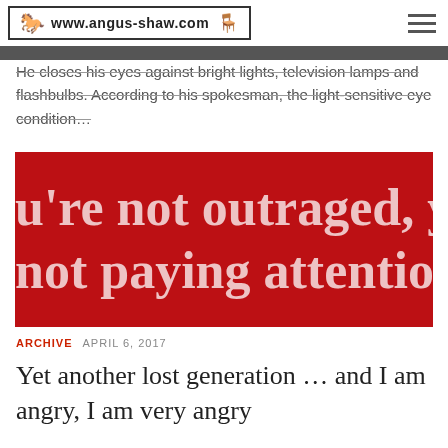www.angus-shaw.com
He closes his eyes against bright lights, television lamps and flashbulbs. According to his spokesman, the light-sensitive eye condition...
[Figure (photo): Red background image with large white serif text reading: u're not outraged, yo not paying attention]
ARCHIVE  APRIL 6, 2017
Yet another lost generation ... and I am angry, I am very angry